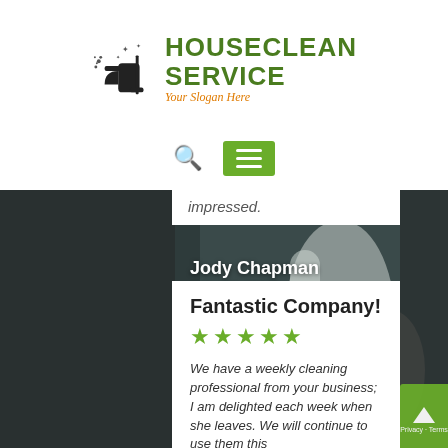[Figure (logo): HouseClean Service logo with cleaning spray bottle icon, green company name text, and orange italic slogan 'Your Slogan Here']
[Figure (other): Navigation bar with search icon and green hamburger menu button]
impressed.
Jody Chapman
July 18, 2018
Fantastic Company!
[Figure (other): Five green star rating]
We have a weekly cleaning professional from your business; I am delighted each week when she leaves. We will continue to use them this